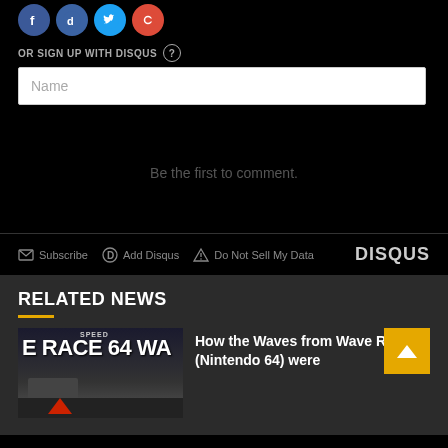[Figure (screenshot): Social media login icons (Facebook blue, Twitter blue, Google+ red) partially cut off at top]
OR SIGN UP WITH DISQUS ?
Name
Be the first to comment.
Subscribe  Add Disqus  Do Not Sell My Data  DISQUS
RELATED NEWS
How the Waves from Wave Race 64 (Nintendo 64) were